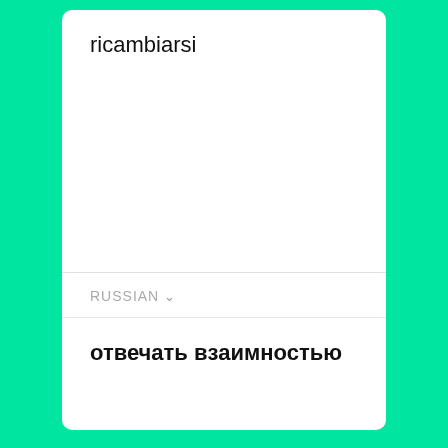ricambiarsi
RUSSIAN
отвечать взаимностью